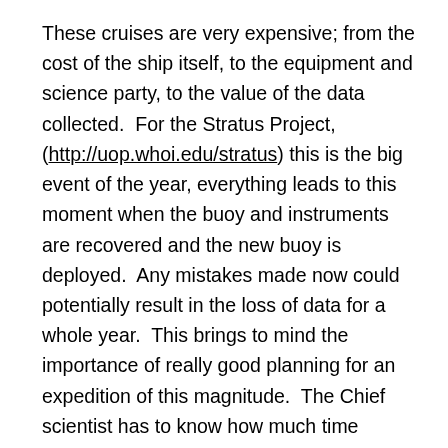These cruises are very expensive; from the cost of the ship itself, to the equipment and science party, to the value of the data collected.  For the Stratus Project, (http://uop.whoi.edu/stratus) this is the big event of the year, everything leads to this moment when the buoy and instruments are recovered and the new buoy is deployed.  Any mistakes made now could potentially result in the loss of data for a whole year.  This brings to mind the importance of really good planning for an expedition of this magnitude.  The Chief scientist has to know how much time he/she need to accomplish their project, build in a few days extra in case of weather or delays, know how much equipment to bring for the project including spare parts (just in case Murphy's Law kicks in...which it does more often than not!).  Redundancy of equipment is essential from the project itself to the ship which has to be able to repair while on the move with extra parts it has with it or to make a part as needed (yes,